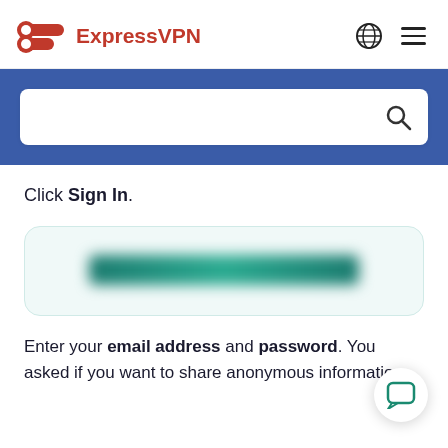ExpressVPN
[Figure (screenshot): Search bar on blue background banner]
Click Sign In.
[Figure (screenshot): Sign-in card with blurred/redacted email address field shown in green]
Enter your email address and password. You asked if you want to share anonymous information